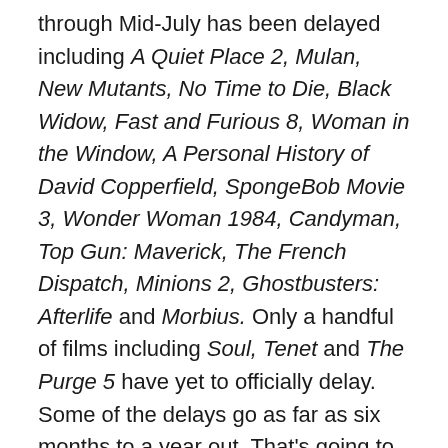through Mid-July has been delayed including A Quiet Place 2, Mulan, New Mutants, No Time to Die, Black Widow, Fast and Furious 8, Woman in the Window, A Personal History of David Copperfield, SpongeBob Movie 3, Wonder Woman 1984, Candyman, Top Gun: Maverick, The French Dispatch, Minions 2, Ghostbusters: Afterlife and Morbius. Only a handful of films including Soul, Tenet and The Purge 5 have yet to officially delay. Some of the delays go as far as six months to a year out. That's going to make the back half of this year quite exhausting. It's a shame too because if this ends by mid to late May, there's not going to be a major film release until July… That won't help any of the movie theaters. As it stands, AMC is apparently close to declaring bankruptcy and restructuring which could